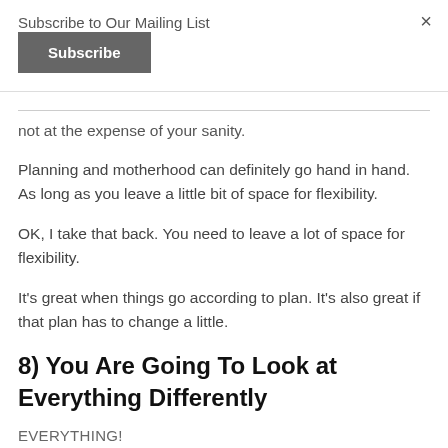Subscribe to Our Mailing List
Subscribe
not at the expense of your sanity.
Planning and motherhood can definitely go hand in hand. As long as you leave a little bit of space for flexibility.
OK, I take that back. You need to leave a lot of space for flexibility.
It's great when things go according to plan. It's also great if that plan has to change a little.
8) You Are Going To Look at Everything Differently
EVERYTHING!